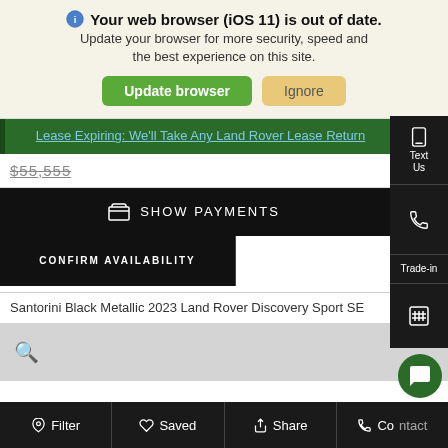Your web browser (iOS 11) is out of date. Update your browser for more security, speed and the best experience on this site. Update browser | Ignore
Lease Expiring: We'll Take Any Land Rover Lease Return
$55,555
SHOW PAYMENTS
CONFIRM AVAILABILITY
Santorini Black Metallic 2023 Land Rover Discovery Sport SE
Filter | Saved | Share | Contact